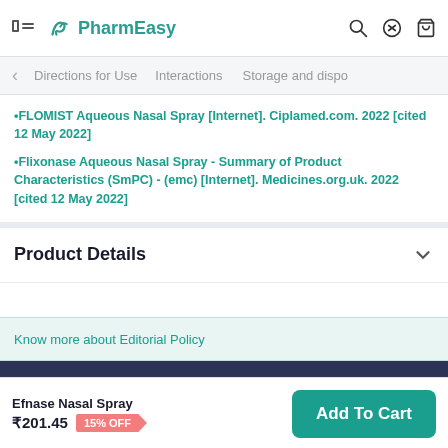PharmEasy
FLOMIST Aqueous Nasal Spray [Internet]. Ciplamed.com. 2022 [cited 12 May 2022]
Flixonase Aqueous Nasal Spray - Summary of Product Characteristics (SmPC) - (emc) [Internet]. Medicines.org.uk. 2022 [cited 12 May 2022]
Product Details
Know more about Editorial Policy
Browse offers and get FLAT 15% OFF
Efnase Nasal Spray ₹201.45 15% OFF Add To Cart